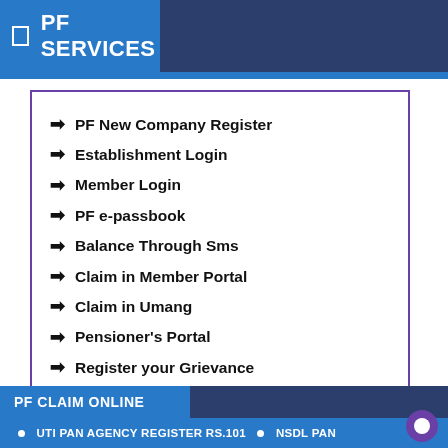PF SERVICES
PF New Company Register
Establishment Login
Member Login
PF e-passbook
Balance Through Sms
Claim in Member Portal
Claim in Umang
Pensioner's Portal
Register your Grievance
Know Your Claim Status
PF CLAIM ONLINE
UTI PAN AGENCY REGISTER RS.101  •  NSDL PAN...